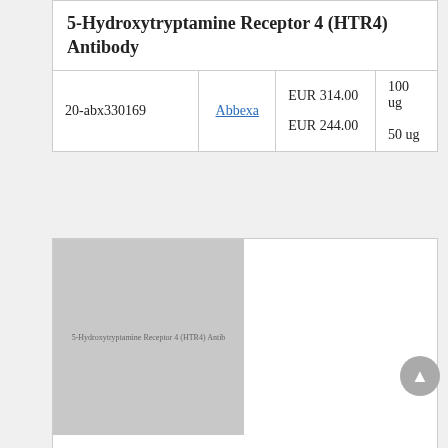5-Hydroxytryptamine Receptor 4 (HTR4) Antibody
|  |  | Price | Size |
| --- | --- | --- | --- |
| 20-abx330169 | Abbexa | EUR 314.00
EUR 244.00 | 100 ug
50 ug |
[Figure (photo): Grayscale product image placeholder for 5-Hydroxytryptamine Receptor 4 (HTR4) Antibody]
5-Hydroxytryptamine Receptor 4 (HTR4) Antibody
|  |  | Size | Price |
| --- | --- | --- | --- |
| abx332264-100ul | Abbexa | 100 ul | EUR 425 |